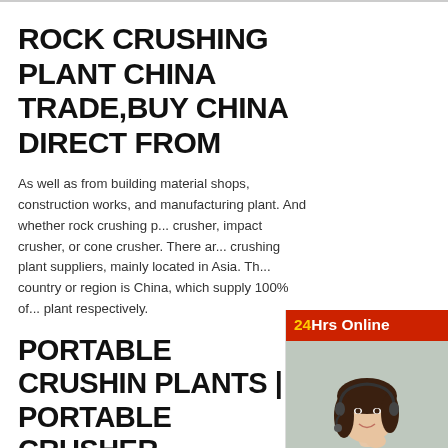ROCK CRUSHING PLANT CHINA TRADE,BUY CHINA DIRECT FROM
As well as from building material shops, construction works, and manufacturing plant. And whether rock crushing p... crusher, impact crusher, or cone crusher. There ar... crushing plant suppliers, mainly located in Asia. Th... country or region is China, which supply 100% of... plant respectively.
PORTABLE CRUSHING PLANTS | PORTABLE CRUSHER
2021-5-18 · The portable crushing plants launche... masterpieces that have been developed on the ba...
[Figure (photo): Customer service representative woman wearing headset, smiling, with 24Hrs Online red banner overlay at top]
Need questions & suggestion?
Chat Now
Enquiry
limingjlmofen